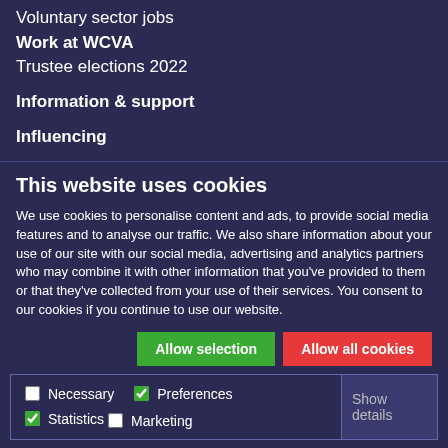Voluntary sector jobs
Work at WCVA
Trustee elections 2022
Information & support
Influencing
Legislation
Brexit
This website uses cookies
We use cookies to personalise content and ads, to provide social media features and to analyse our traffic. We also share information about your use of our site with our social media, advertising and analytics partners who may combine it with other information that you've provided to them or that they've collected from your use of their services. You consent to our cookies if you continue to use our website.
Allow selection
Allow all cookies
Necessary  Preferences  Statistics  Marketing  Show details